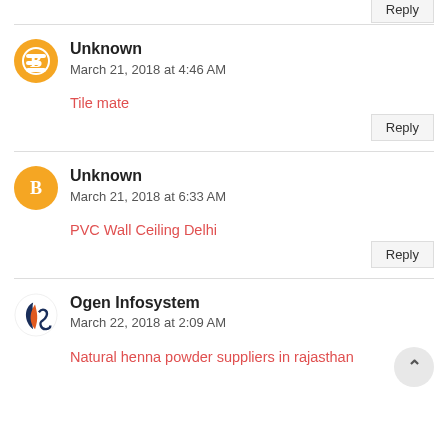Reply
Unknown
March 21, 2018 at 4:46 AM
Tile mate
Reply
Unknown
March 21, 2018 at 6:33 AM
PVC Wall Ceiling Delhi
Reply
Ogen Infosystem
March 22, 2018 at 2:09 AM
Natural henna powder suppliers in rajasthan